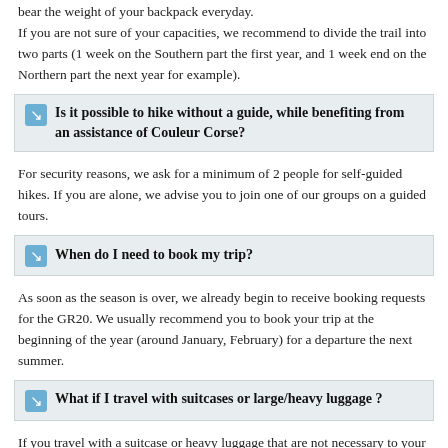bear the weight of your backpack everyday. If you are not sure of your capacities, we recommend to divide the trail into two parts (1 week on the Southern part the first year, and 1 week end on the Northern part the next year for example).
Is it possible to hike without a guide, while benefiting from an assistance of Couleur Corse?
For security reasons, we ask for a minimum of 2 people for self-guided hikes. If you are alone, we advise you to join one of our groups on a guided tours.
When do I need to book my trip?
As soon as the season is over, we already begin to receive booking requests for the GR20. We usually recommend you to book your trip at the beginning of the year (around January, February) for a departure the next summer.
What if I travel with suitcases or large/heavy luggage ?
If you travel with a suitcase or heavy luggage that are not necessary to your hike, you have the possibility to leave us your belongings at our office in Ajaccio for the week.